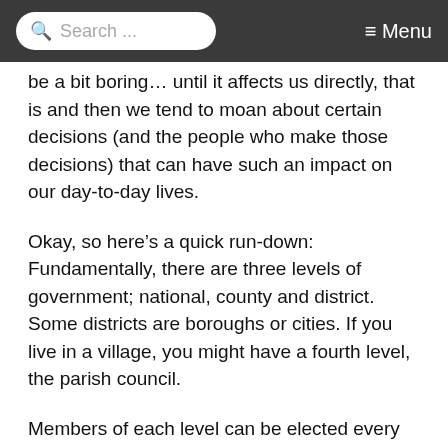Search ... ≡ Menu
be a bit boring… until it affects us directly, that is and then we tend to moan about certain decisions (and the people who make those decisions) that can have such an impact on our day-to-day lives.
Okay, so here's a quick run-down: Fundamentally, there are three levels of government; national, county and district. Some districts are boroughs or cities. If you live in a village, you might have a fourth level, the parish council.
Members of each level can be elected every four years although it's rarely the same four years, if you know what I mean. This year for example, in some areas in the UK, it's the turn of residents to elect